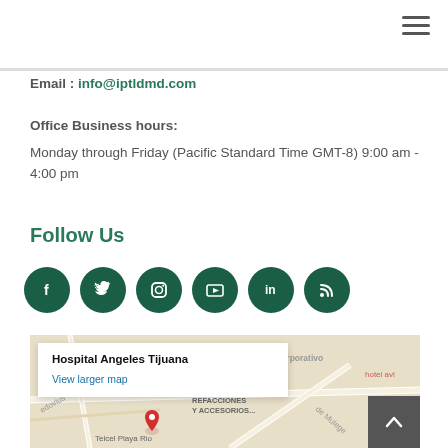Email : info@iptldmd.com
Office Business hours:
Monday through Friday (Pacific Standard Time GMT-8) 9:00 am - 4:00 pm
Follow Us
[Figure (infographic): Six circular dark green social media icon buttons: Facebook (f), Twitter (bird), Instagram (camera), YouTube (play), LinkedIn (in), RSS feed]
[Figure (map): Google Maps screenshot showing Hospital Angeles Tijuana area with a popup card showing 'Hospital Angeles Tijuana' and 'View larger map' link. Map shows roads, labels including Corporativo, hotel avi, REFACCIONES Y ACCESORIOS, de Mulege, edovius, Telcel Playa Rio.]